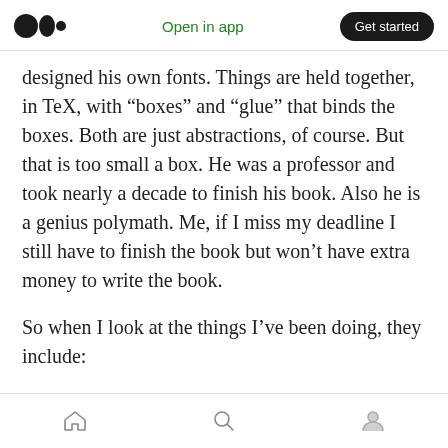Open in app | Get started
designed his own fonts. Things are held together, in TeX, with “boxes” and “glue” that binds the boxes. Both are just abstractions, of course. But that is too small a box. He was a professor and took nearly a decade to finish his book. Also he is a genius polymath. Me, if I miss my deadline I still have to finish the book but won’t have extra money to write the book.
So when I look at the things I’ve been doing, they include:
Starting a Medium collection called Liminal